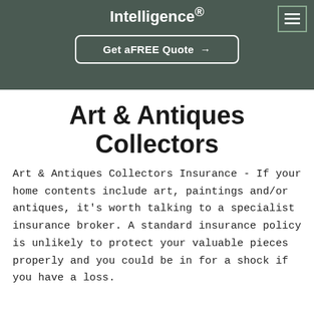Intelligence®
Get a FREE Quote →
Art & Antiques Collectors
Art & Antiques Collectors Insurance - If your home contents include art, paintings and/or antiques, it's worth talking to a specialist insurance broker. A standard insurance policy is unlikely to protect your valuable pieces properly and you could be in for a shock if you have a loss.